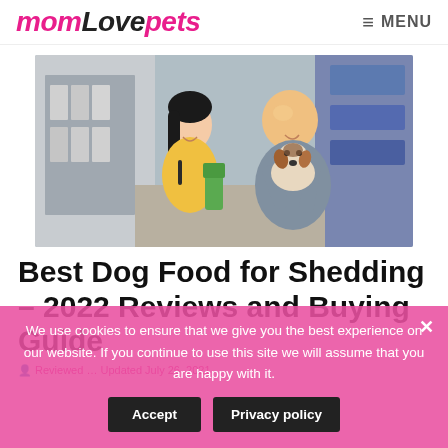momlovepets  MENU
[Figure (photo): A woman in a yellow top and a man in a grey shirt holding a small Jack Russell terrier puppy inside a pet store with shelves of products in the background.]
Best Dog Food for Shedding – 2022 Reviews and Buying Guide
Reviewed … Updated July 26, 2021
We use cookies to ensure that we give you the best experience on our website. If you continue to use this site we will assume that you are happy with it.